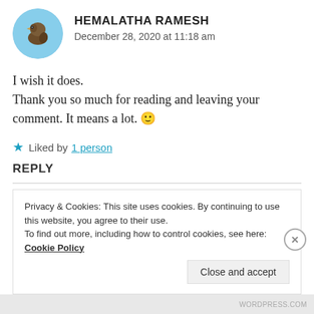[Figure (photo): Circular avatar photo of a bird perched outdoors, shown in a round crop with sky background.]
HEMALATHA RAMESH
December 28, 2020 at 11:18 am
I wish it does.
Thank you so much for reading and leaving your comment. It means a lot. 🙂
★ Liked by 1 person
REPLY
Privacy & Cookies: This site uses cookies. By continuing to use this website, you agree to their use.
To find out more, including how to control cookies, see here: Cookie Policy
Close and accept